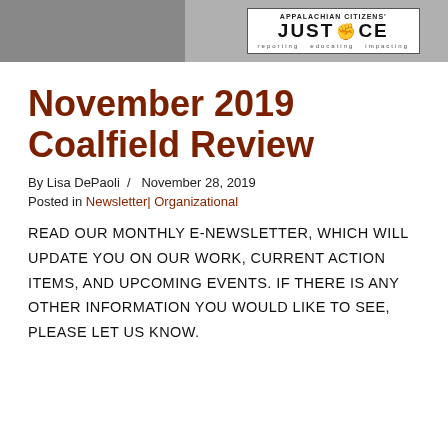[Figure (logo): Appalachian Citizens' Law Center Justice logo with raised fist, on gray banner background]
November 2019 Coalfield Review
By Lisa DePaoli / November 28, 2019
Posted in Newsletter| Organizational
READ OUR MONTHLY E-NEWSLETTER, WHICH WILL UPDATE YOU ON OUR WORK, CURRENT ACTION ITEMS, AND UPCOMING EVENTS. IF THERE IS ANY OTHER INFORMATION YOU WOULD LIKE TO SEE, PLEASE LET US KNOW.